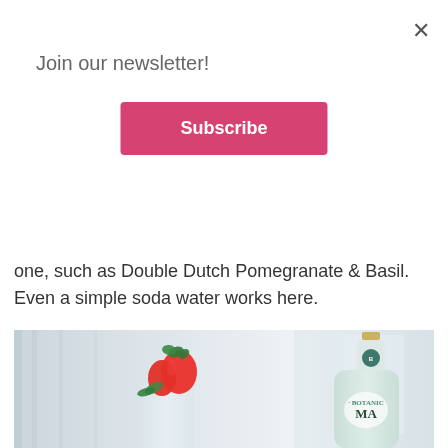×
Join our newsletter!
Subscribe
one, such as Double Dutch Pomegranate & Basil. Even a simple soda water works here.
[Figure (photo): A cocktail glass garnished with a strawberry and mint/basil leaves, next to a bottle of MA Botanical gin, set against a light grey curtained background.]